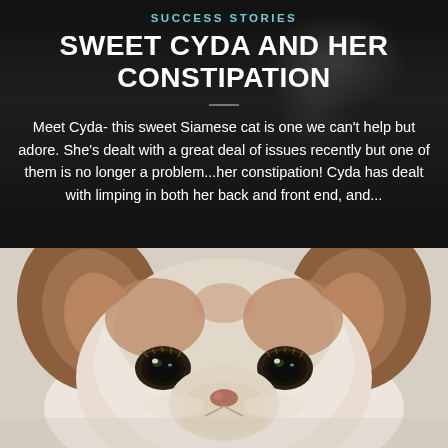SUCCESS STORIES
SWEET CYDA AND HER CONSTIPATION
Meet Cyda- this sweet Siamese cat is one we can't help but adore. She's dealt with a great deal of issues recently but one of them is no longer a problem...her constipation! Cyda has dealt with limping in both her back and front end, and...
[Figure (photo): Close-up photo of a small dog (white and brown/tan coloring) looking up at the camera with wide dark eyes and floppy ears, against a light background]